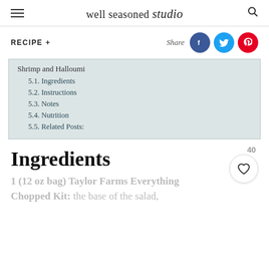well seasoned studio
RECIPE +
Share
Shrimp and Halloumi
5.1. Ingredients
5.2. Instructions
5.3. Notes
5.4. Nutrition
5.5. Related Posts:
Ingredients
1 (12 oz bag) Taylor Farms Everything Chopped Kit: the base of the salad,